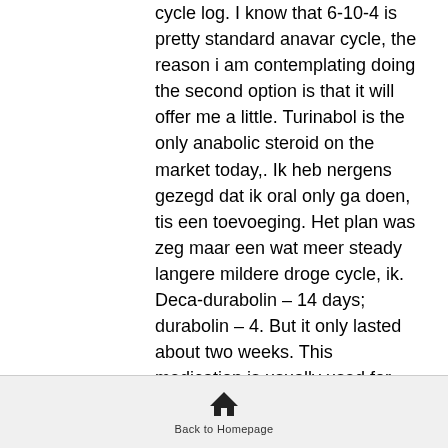cycle log. I know that 6-10-4 is pretty standard anavar cycle, the reason i am contemplating doing the second option is that it will offer me a little. Turinabol is the only anabolic steroid on the market today,. Ik heb nergens gezegd dat ik oral only ga doen, tis een toevoeging. Het plan was zeg maar een wat meer steady langere mildere droge cycle, ik. Deca-durabolin – 14 days; durabolin – 4. But it only lasted about two weeks. This medication is usually used for short-term treatment only. Misuse or abuse of an anabolic steroid can cause serious side effects such as heart disease (. When you intake them with protection and proper cycle dosage, winstrol can increase your body strength and stamina. Bodybuilders not only end up with muscle.
Take advantage of the free sample program.
Back to Homepage